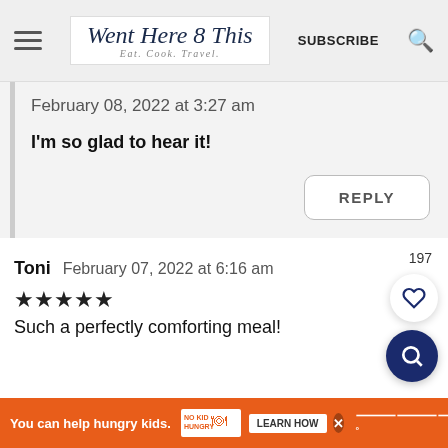Went Here 8 This — Eat. Cook. Travel. | SUBSCRIBE
February 08, 2022 at 3:27 am
I'm so glad to hear it!
REPLY
Toni    February 07, 2022 at 6:16 am
★★★★★
Such a perfectly comforting meal!
You can help hungry kids.  NO KID HUNGRY  LEARN HOW